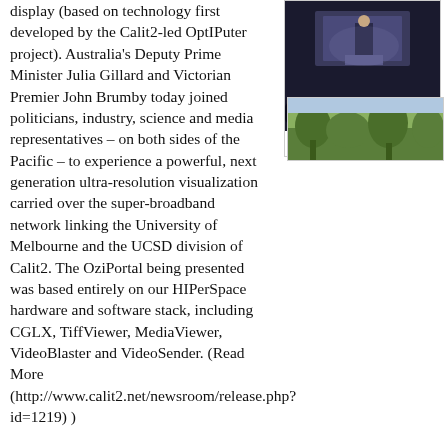display (based on technology first developed by the Calit2-led OptIPuter project). Australia's Deputy Prime Minister Julia Gillard and Victorian Premier John Brumby today joined politicians, industry, science and media representatives – on both sides of the Pacific – to experience a powerful, next generation ultra-resolution visualization carried over the super-broadband network linking the University of Melbourne and the UCSD division of Calit2. The OziPortal being presented was based entirely on our HIPerSpace hardware and software stack, including CGLX, TiffViewer, MediaViewer, VideoBlaster and VideoSender. (Read More (http://www.calit2.net/newsroom/release.php?id=1219) )
[Figure (photo): A presenter on stage at a large conference or event, audience visible in foreground]
HIPerSpace
January 11, 2008 - UC San Diego Researchers Acquire Data on Renaissance Landmark in Search for da Vinci Mural
When most tourists visit Florence's famed Palazzo Vecchio, they are ushered off the
[Figure (photo): Outdoor or nature scene, green landscape]